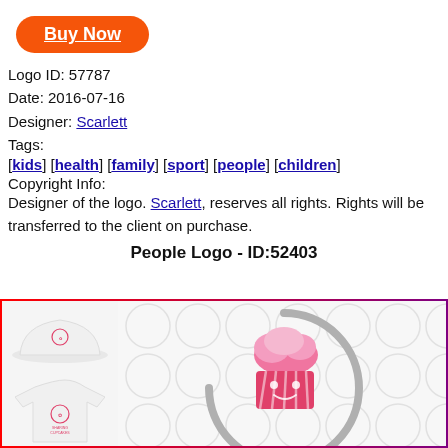[Figure (logo): Orange 'Buy Now' button with rounded corners and white underlined bold text]
Logo ID: 57787
Date: 2016-07-16
Designer: Scarlett
Tags:
[kids] [health] [family] [sport] [people] [children]
Copyright Info:
Designer of the logo. Scarlett, reserves all rights. Rights will be transferred to the client on purchase.
People Logo - ID:52403
[Figure (illustration): Logo preview showing a cupcake logo on a hat and t-shirt on the left, and the main pink cupcake logo with grey circular arc on a patterned background on the right. Border is red to purple gradient.]